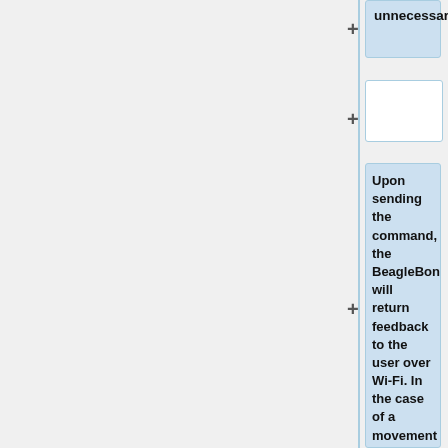unnecessary.
Upon sending the command, the BeagleBone will return feedback to the user over Wi-Fi. In the case of a movement command it will return that the command was executed successfully, and if a sensor was queried it will return the result. The Python script will then prompt